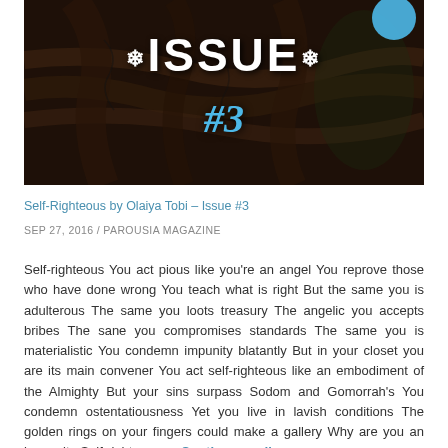[Figure (photo): Magazine cover image with tree bark/roots background, 'ISSUE #3' text overlay with snowflake decorations, blue circle logo in top right corner]
Self-Righteous by Olaiya Tobi – Issue #3
SEP 27, 2016 / PAROUSIA MAGAZINE
Self-righteous You act pious like you're an angel You reprove those who have done wrong You teach what is right But the same you is adulterous The same you loots treasury The angelic you accepts bribes The sane you compromises standards The same you is materialistic You condemn impunity blatantly But in your closet you are its main convener You act self-righteous like an embodiment of the Almighty But your sins surpass Sodom and Gomorrah's You condemn ostentatiousness Yet you live in lavish conditions The golden rings on your fingers could make a gallery Why are you an hypocrite Self-righteous … Continue reading